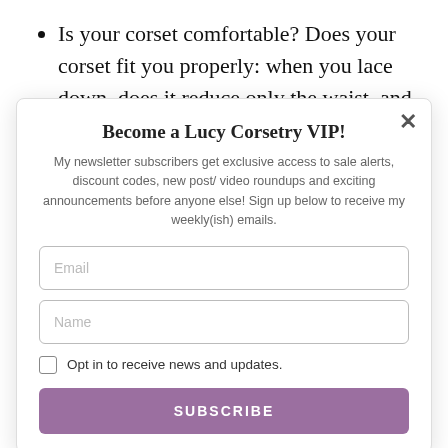Is your corset comfortable? Does your corset fit you properly: when you lace down, does it reduce only the waist, and is it lying flat
Become a Lucy Corsetry VIP!
My newsletter subscribers get exclusive access to sale alerts, discount codes, new post/ video roundups and exciting announcements before anyone else! Sign up below to receive my weekly(ish) emails.
Email
Name
Opt in to receive news and updates.
SUBSCRIBE